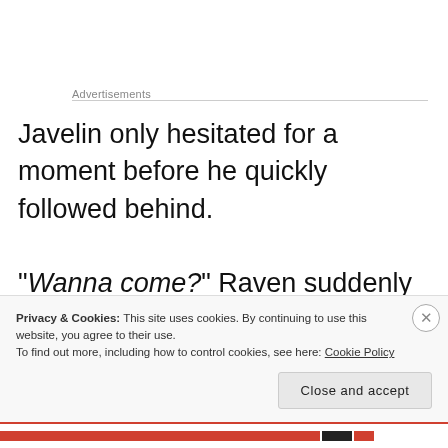Advertisements
Javelin only hesitated for a moment before he quickly followed behind.
“Wanna come?” Raven suddenly asked and Hoatzin could feel his sister gazing down on him. He really wanted to refuse – water wasn’t his thing – but, all
Privacy & Cookies: This site uses cookies. By continuing to use this website, you agree to their use.
To find out more, including how to control cookies, see here: Cookie Policy
Close and accept